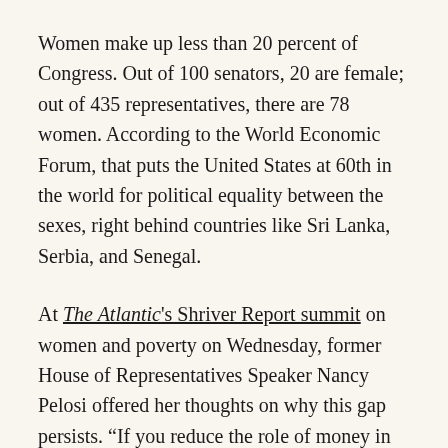Women make up less than 20 percent of Congress. Out of 100 senators, 20 are female; out of 435 representatives, there are 78 women. According to the World Economic Forum, that puts the United States at 60th in the world for political equality between the sexes, right behind countries like Sri Lanka, Serbia, and Senegal.
At The Atlantic's Shriver Report summit on women and poverty on Wednesday, former House of Representatives Speaker Nancy Pelosi offered her thoughts on why this gap persists. "If you reduce the role of money in politics and increase the level of civility in debate, more women will run for